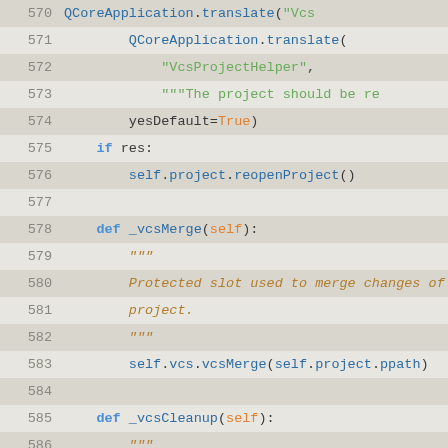[Figure (screenshot): Source code listing in a dark-light IDE theme showing Python code lines 570-596, with line numbers, syntax highlighting in blue, green, orange/gold colors on an aged beige/gray background.]